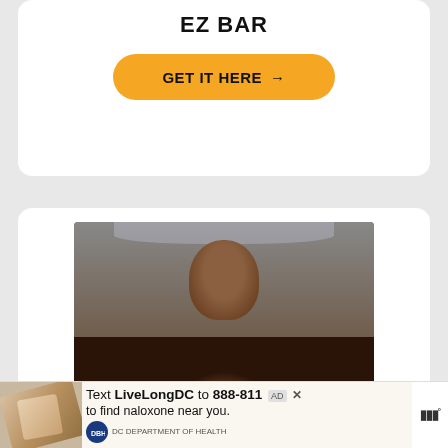EZ BAR
GET IT HERE →
[Figure (photo): Photo of Phil Heath, professional bodybuilder, flexing in a gym. Text overlay reads: PHIL HEATH: WHAT DOES IT MEAN TO BE A CHAMPION?]
WHAT DOES IT MEAN TO BE A CHAMPION? PHIL HEATH
Text LiveLongDC to 888-811 to find naloxone near you.